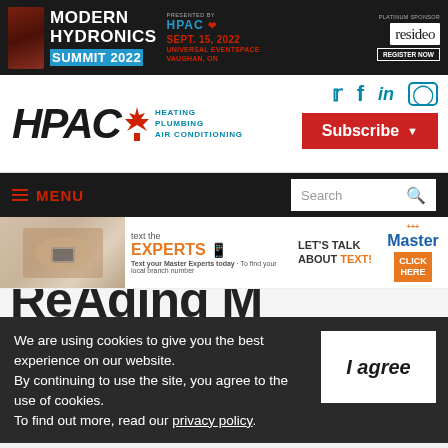[Figure (infographic): Modern Hydronics Summit 2022 banner ad — Sept. 15, 2022, Universal Eventspace, Vaughan, ON. Presented by HPAC. Platinum Sponsor: resideo. Register Now button.]
[Figure (logo): HPAC logo — Heating Plumbing Air Conditioning with maple leaf icon, teal subtitle text]
[Figure (infographic): Social media icons: Twitter, Facebook, LinkedIn, Instagram in teal]
[Figure (screenshot): Subscribe button (red) with dropdown arrow]
[Figure (screenshot): MENU hamburger nav bar (dark background, red text) with Search box]
[Figure (infographic): Master ad: text the EXPERTS mobile ad — LET'S TALK ABOUT TEXT! with Master logo and CLICK HERE button]
[Figure (screenshot): Partial large bold heading text partially visible at bottom]
We are using cookies to give you the best experience on our website.
By continuing to use the site, you agree to the use of cookies.
To find out more, read our privacy policy.
[Figure (screenshot): I agree button (white background, italic bold text)]